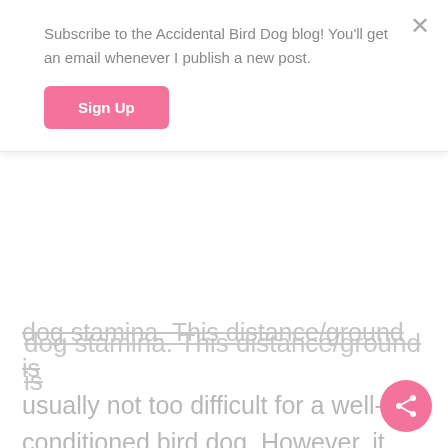Subscribe to the Accidental Bird Dog blog! You'll get an email whenever I publish a new post.
Sign Up
dog stamina. This distance/ground is usually not too difficult for a well-conditioned bird dog. However, it can be more of an issue if the weather is warm.
BONUS POINTS
Every field trial brace is different. Sometimes each dog finds multiple birds, sometimes one of the dogs